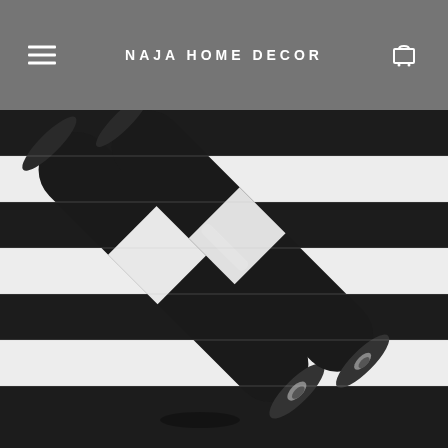NAJA HOME DECOR
[Figure (photo): Two rolls of black and white striped wallpaper laid diagonally on a background showing the wallpaper pattern with alternating wide black and white horizontal stripes.]